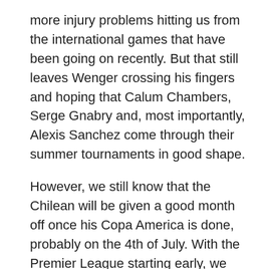more injury problems hitting us from the international games that have been going on recently. But that still leaves Wenger crossing his fingers and hoping that Calum Chambers, Serge Gnabry and, most importantly, Alexis Sanchez come through their summer tournaments in good shape.
However, we still know that the Chilean will be given a good month off once his Copa America is done, probably on the 4th of July. With the Premier League starting early, we are going to have to start without him so those first few fixtures are massive and we have been handed a big boost by the fixture schedule.
A home clash with West Ham is followed by a trip to